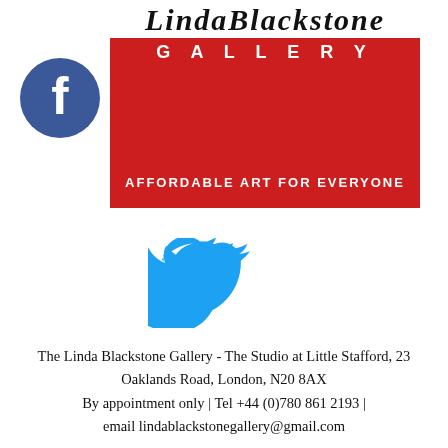[Figure (logo): Linda Blackstone Gallery logo with script text, red background box with GALLERY text and AFFORDABLE ART FOR EVERYONE tagline]
[Figure (logo): Facebook logo - blue circle with white F]
[Figure (logo): Twitter bird logo in blue]
The Linda Blackstone Gallery - The Studio at Little Stafford, 23 Oaklands Road, London, N20 8AX
By appointment only | Tel +44 (0)780 861 2193 |
email lindablackstonegallery@gmail.com